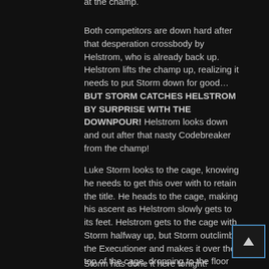at the champ.
Both competitors are down hard after that desperation crossbody by Helstrom, who is already back up. Helstrom lifts the champ up, realizing it needs to put Storm down for good… BUT STORM CATCHES HELSTROM BY SURPRISE WITH THE DOWNPOUR! Helstrom looks down and out after that nasty Codebreaker from the champ!
Luke Storm looks to the cage, knowing he needs to get this over with to retain the title. He heads to the cage, making his ascent as Helstrom slowly gets to its feet. Helstrom gets to the cage with Storm halfway up, but Storm outclimbs the Executioner and makes it over the top of the cage, dropping to the floor below!
Storm has done it here tonight!